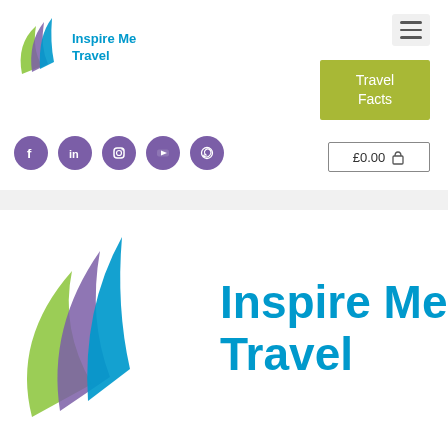[Figure (logo): Inspire Me Travel small logo with leaf icon top left of header]
[Figure (other): Hamburger menu icon top right]
[Figure (other): Travel Facts olive/yellow-green button]
[Figure (other): Social media icons row: Facebook, LinkedIn, Instagram, YouTube, WhatsApp]
£0.00
[Figure (logo): Large Inspire Me Travel logo with multi-colored leaf petals (blue, purple, green) and brand name text in blue]